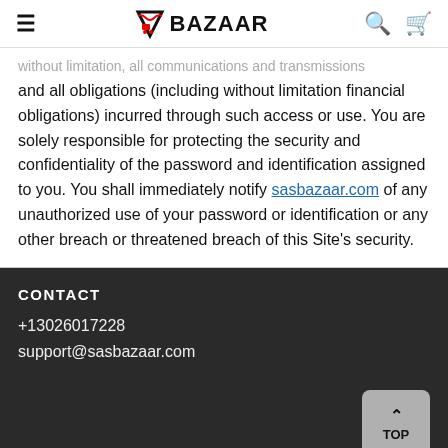SAS BAZAAR
without limitation, all communications and transmissions and all obligations (including without limitation financial obligations) incurred through such access or use. You are solely responsible for protecting the security and confidentiality of the password and identification assigned to you. You shall immediately notify sasbazaar.com of any unauthorized use of your password or identification or any other breach or threatened breach of this Site's security.
CONTACT
+13026017228
support@sasbazaar.com